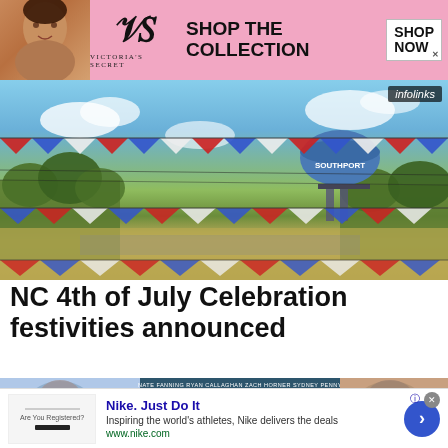[Figure (other): Victoria's Secret advertisement banner: pink background with model, VS logo, 'SHOP THE COLLECTION' text, and 'SHOP NOW' button]
[Figure (photo): Outdoor photo of Southport NC with patriotic red, white and blue bunting banners and a water tower labeled SOUTHPORT, with infolinks badge]
NC 4th of July Celebration festivities announced
[Figure (photo): Movie advertisement image with actors Nate Fanning, Ryan Callaghan, Zach Horner, Sydney Penny, with infolinks badge]
[Figure (other): Nike advertisement: Nike. Just Do It — Inspiring the world's athletes, Nike delivers the deals — www.nike.com]